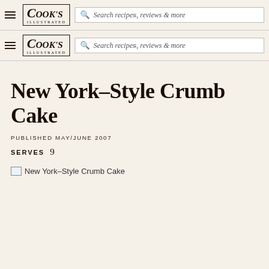COOK'S ILLUSTRATED — Search recipes, reviews & more
COOK'S ILLUSTRATED — Search recipes, reviews & more
New York-Style Crumb Cake
PUBLISHED MAY/JUNE 2007
SERVES 9
[Figure (photo): New York-Style Crumb Cake image (broken/unloaded)]